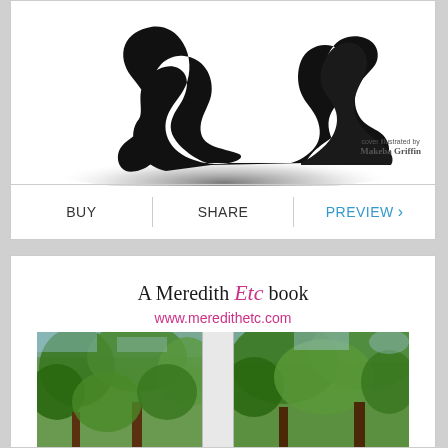[Figure (illustration): Book cover showing two silhouetted figures sitting together against a white background with a radial shadow. Text in upper right reads 'cover illustrated by Makeba Griffin'.]
BUY   SHARE   PREVIEW ›
A Meredith Etc book
www.meredithetc.com
[Figure (photo): Two book cover thumbnail photos side by side showing trees and sky through windows, separated by a white gap.]